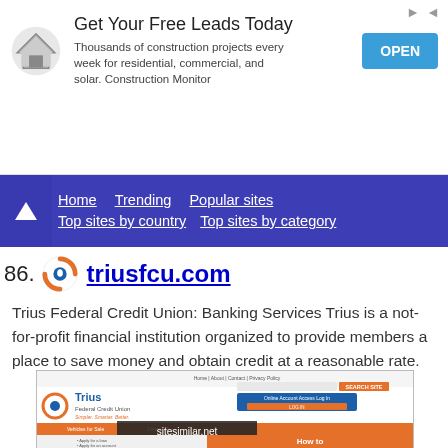[Figure (other): Advertisement banner: Get Your Free Leads Today - Thousands of construction projects every week for residential, commercial, and solar. Construction Monitor. OPEN button.]
Home   Trending   Popular sites   Top sites by country   Top sites by category
86. triusfcu.com
Trius Federal Credit Union: Banking Services Trius is a not-for-profit financial institution organized to provide members a place to save money and obtain credit at a reasonable rate.
[Figure (screenshot): Screenshot of triusfcu.com website showing Trius Federal Credit Union homepage with logo, navigation bar, search, online account access login, and mobile banking promotion. Watermark: sitesimilar.net]